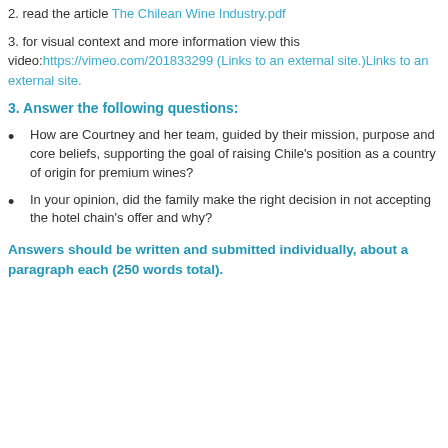2. read the article The Chilean Wine Industry.pdf
3. for visual context and more information view this video:https://vimeo.com/201833299 (Links to an external site.)Links to an external site.
3. Answer the following questions:
How are Courtney and her team, guided by their mission, purpose and core beliefs, supporting the goal of raising Chile's position as a country of origin for premium wines?
In your opinion, did the family make the right decision in not accepting the hotel chain's offer and why?
Answers should be written and submitted individually, about a paragraph each (250 words total).